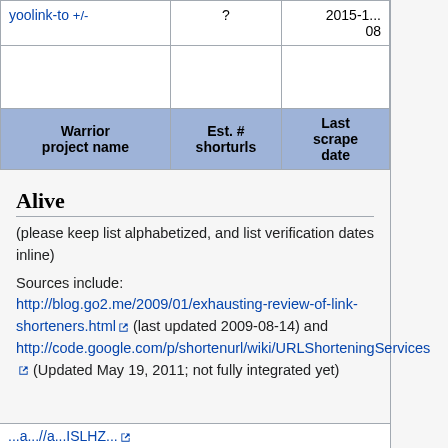| Warrior project name | Est. # shorturls | Last scraped date |
| --- | --- | --- |
| yoolink-to +/- | ? | 2015-1... 08 |
Alive
(please keep list alphabetized, and list verification dates inline)
Sources include: http://blog.go2.me/2009/01/exhausting-review-of-link-shorteners.html (last updated 2009-08-14) and http://code.google.com/p/shortenurl/wiki/URLShorteningServices (Updated May 19, 2011; not fully integrated yet)